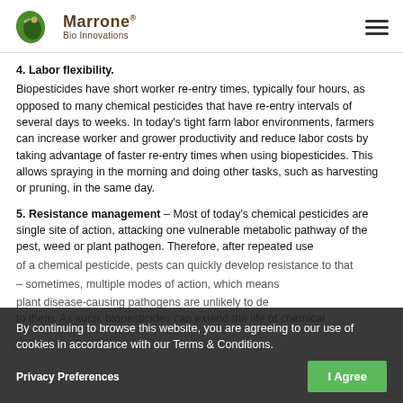Marrone Bio Innovations
4. Labor flexibility.
Biopesticides have short worker re-entry times, typically four hours, as opposed to many chemical pesticides that have re-entry intervals of several days to weeks. In today's tight farm labor environments, farmers can increase worker and grower productivity and reduce labor costs by taking advantage of faster re-entry times when using biopesticides. This allows spraying in the morning and doing other tasks, such as harvesting or pruning, in the same day.
5. Resistance management – Most of today's chemical pesticides are single site of action, attacking one vulnerable metabolic pathway of the pest, weed or plant pathogen. Therefore, after repeated use of a chemical pesticide, pests can quickly develop resistance to that pesticide. – sometimes, multiple modes of action, which means plant disease-causing pathogens are unlikely to develop resistance to them. As such, biopesticides can extend the life of chemical
By continuing to browse this website, you are agreeing to our use of cookies in accordance with our Terms & Conditions.
Privacy Preferences
I Agree